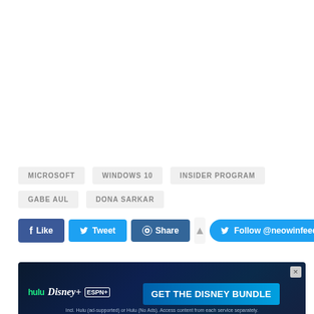MICROSOFT
WINDOWS 10
INSIDER PROGRAM
GABE AUL
DONA SARKAR
Like  Tweet  Share  Follow @neowinfeeds
[Figure (screenshot): Disney Bundle advertisement banner with Hulu, Disney+, ESPN+ logos and GET THE DISNEY BUNDLE call to action]